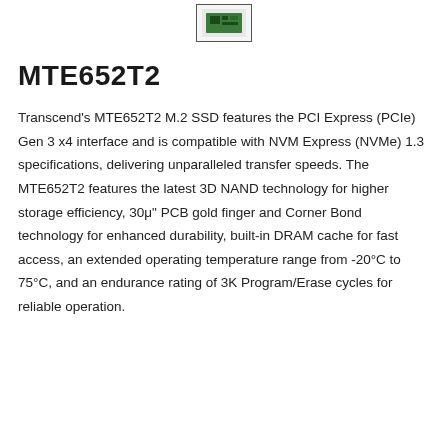[Figure (photo): Small M.2 SSD product thumbnail image showing a green PCB module inside a bordered box]
MTE652T2
Transcend's MTE652T2 M.2 SSD features the PCI Express (PCIe) Gen 3 x4 interface and is compatible with NVM Express (NVMe) 1.3 specifications, delivering unparalleled transfer speeds. The MTE652T2 features the latest 3D NAND technology for higher storage efficiency, 30μ" PCB gold finger and Corner Bond technology for enhanced durability, built-in DRAM cache for fast access, an extended operating temperature range from -20°C to 75°C, and an endurance rating of 3K Program/Erase cycles for reliable operation.